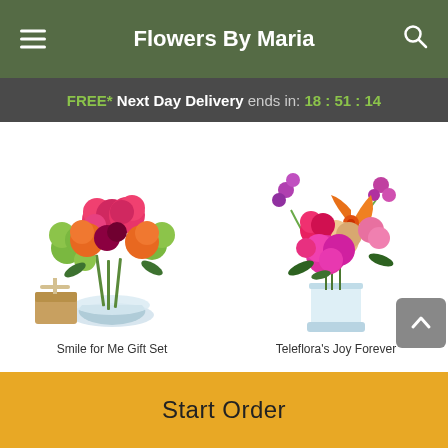Flowers By Maria
FREE* Next Day Delivery ends in: 18 : 51 : 14
[Figure (photo): Flower bouquet arrangement with pink and orange roses and green accents in a glass bowl vase, with a small chocolate gift box beside it. Product: Smile for Me Gift Set]
[Figure (photo): Vibrant flower bouquet with orange lilies, pink roses, magenta peonies and purple flowers in a clear glass rectangular vase. Product: Teleflora's Joy Forever]
Smile for Me Gift Set
Teleflora's Joy Forever
Start Order